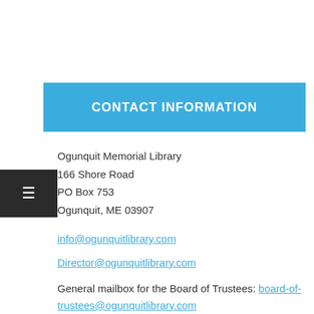CONTACT INFORMATION
Ogunquit Memorial Library
166 Shore Road
PO Box 753
Ogunquit, ME 03907
info@ogunquitlibrary.com
Director@ogunquitlibrary.com
General mailbox for the Board of Trustees: board-of-trustees@ogunquitlibrary.com
Phone: (207) 646-9024
More detailed contact Information